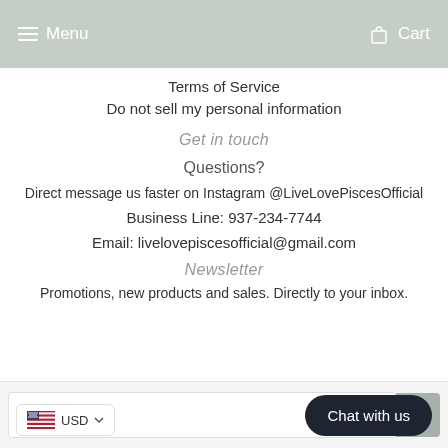Menu   Cart
Terms of Service
Do not sell my personal information
Get in touch
Questions?
Direct message us faster on Instagram @LiveLovePiscesOfficial
Business Line: 937-234-7744
Email: livelovepiscesofficial@gmail.com
Newsletter
Promotions, new products and sales. Directly to your inbox.